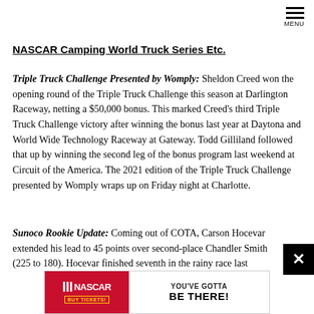MENU
NASCAR Camping World Truck Series Etc.
Triple Truck Challenge Presented by Womply: Sheldon Creed won the opening round of the Triple Truck Challenge this season at Darlington Raceway, netting a $50,000 bonus. This marked Creed's third Triple Truck Challenge victory after winning the bonus last year at Daytona and World Wide Technology Raceway at Gateway. Todd Gilliland followed that up by winning the second leg of the bonus program last weekend at Circuit of the America. The 2021 edition of the Triple Truck Challenge presented by Womply wraps up on Friday night at Charlotte.
Sunoco Rookie Update: Coming out of COTA, Carson Hocevar extended his lead to 45 points over second-place Chandler Smith (225 to 180). Hocevar finished seventh in the rainy race last
[Figure (infographic): NASCAR 'YOU'VE GOTTA BE THERE!' advertisement banner with red NASCAR logo and BUY TICKETS button on left, and large bold text on right]